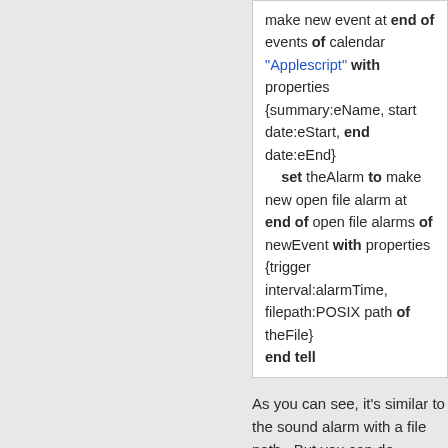make new event at end of events of calendar "Applescript" with properties {summary:eName, start date:eStart, end date:eEnd}
    set theAlarm to make new open file alarm at end of open file alarms of newEvent with properties {trigger interval:alarmTime, filepath:POSIX path of theFile}
end tell
As you can see, it's similar to the sound alarm with a file path.  But you can do something with this kind of